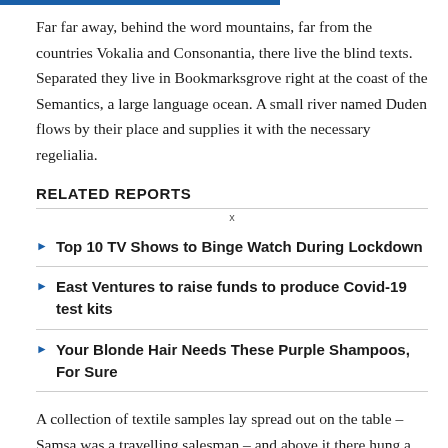Far far away, behind the word mountains, far from the countries Vokalia and Consonantia, there live the blind texts. Separated they live in Bookmarksgrove right at the coast of the Semantics, a large language ocean. A small river named Duden flows by their place and supplies it with the necessary regelialia.
RELATED REPORTS
Top 10 TV Shows to Binge Watch During Lockdown
East Ventures to raise funds to produce Covid-19 test kits
Your Blonde Hair Needs These Purple Shampoos, For Sure
A collection of textile samples lay spread out on the table – Samsa was a travelling salesman – and above it there hung a